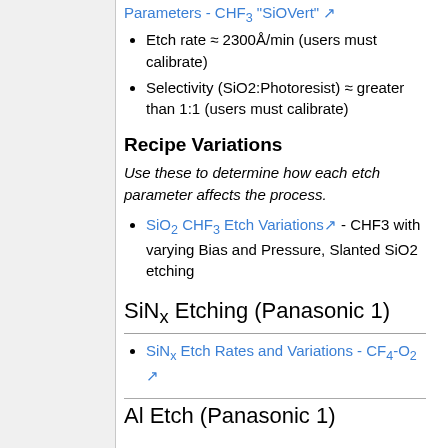Parameters - CHF3 "SiOVert"
Etch rate ≈ 2300Å/min (users must calibrate)
Selectivity (SiO2:Photoresist) ≈ greater than 1:1 (users must calibrate)
Recipe Variations
Use these to determine how each etch parameter affects the process.
SiO2 CHF3 Etch Variations - CHF3 with varying Bias and Pressure, Slanted SiO2 etching
SiNx Etching (Panasonic 1)
SiNx Etch Rates and Variations - CF4-O2
Al Etch (Panasonic 1)